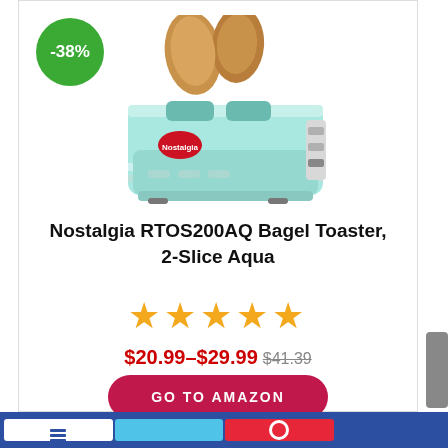[Figure (photo): Nostalgia RTOS200AQ retro-style 2-slice bagel toaster in aqua/mint color with chrome accents and toast slots visible from above, with a discount badge showing -38% in green circle]
Nostalgia RTOS200AQ Bagel Toaster, 2-Slice Aqua
★★★★★
$20.99–$29.99 $41.39
GO TO AMAZON